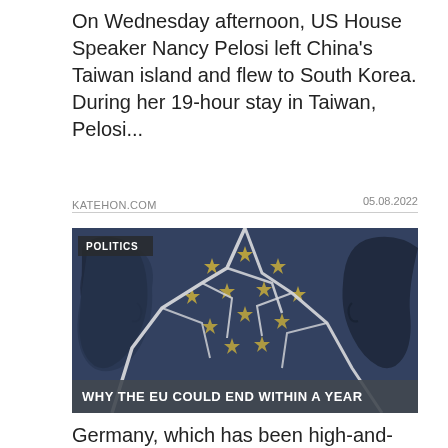On Wednesday afternoon, US House Speaker Nancy Pelosi left China's Taiwan island and flew to South Korea. During her 19-hour stay in Taiwan, Pelosi...
KATEHON.COM    05.08.2022
[Figure (illustration): Illustration showing two face silhouettes on either side of a cracked/shattered EU flag with yellow stars on dark blue background. A 'POLITICS' tag overlays the top-left, and a headline bar at the bottom reads 'WHY THE EU COULD END WITHIN A YEAR'.]
Germany, which has been high-and-mighty within the European Union and has imposed austerity